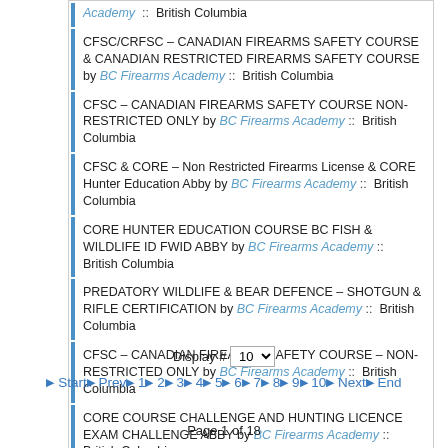Academy :: British Columbia
CFSC/CRFSC – CANADIAN FIREARMS SAFETY COURSE & CANADIAN RESTRICTED FIREARMS SAFETY COURSE by BC Firearms Academy :: British Columbia
CFSC – CANADIAN FIREARMS SAFETY COURSE NON-RESTRICTED ONLY by BC Firearms Academy :: British Columbia
CFSC & CORE – Non Restricted Firearms License & CORE Hunter Education Abby by BC Firearms Academy :: British Columbia
CORE HUNTER EDUCATION COURSE BC FISH & WILDLIFE ID FWID ABBY by BC Firearms Academy :: British Columbia
PREDATORY WILDLIFE & BEAR DEFENCE – SHOTGUN & RIFLE CERTIFICATION by BC Firearms Academy :: British Columbia
CFSC – CANADIAN FIREARMS SAFETY COURSE – NON-RESTRICTED ONLY by BC Firearms Academy :: British Columbia
CORE COURSE CHALLENGE AND HUNTING LICENCE EXAM CHALLENGE ABBY by BC Firearms Academy :: British Columbia
Display # 10
▶ Start ▶ Prev ▶ 1 ▶ 2 ▶ 3 ▶ 4 ▶ 5 ▶ 6 ▶ 7 ▶ 8 ▶ 9 ▶ 10 ▶ Next ▶ End
Page 1 of 18